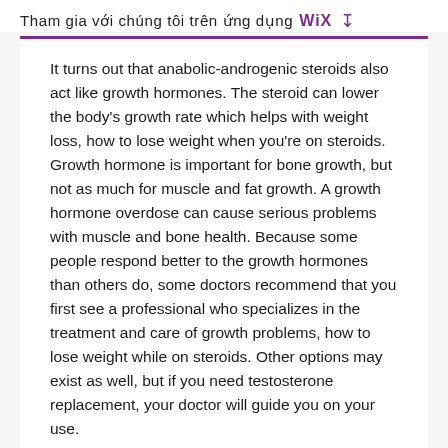Tham gia với chúng tôi trên ứng dụng WiX ⬇
It turns out that anabolic-androgenic steroids also act like growth hormones. The steroid can lower the body's growth rate which helps with weight loss, how to lose weight when you're on steroids. Growth hormone is important for bone growth, but not as much for muscle and fat growth. A growth hormone overdose can cause serious problems with muscle and bone health. Because some people respond better to the growth hormones than others do, some doctors recommend that you first see a professional who specializes in the treatment and care of growth problems, how to lose weight while on steroids. Other options may exist as well, but if you need testosterone replacement, your doctor will guide you on your use.
Other Anabolic Steroids for Weight Loss